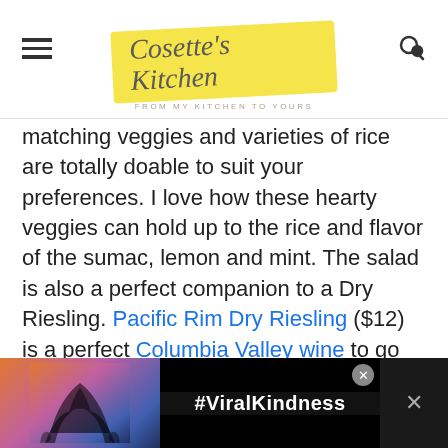Cosette's Kitchen — FROM MY KITCHEN TO YOURS
matching veggies and varieties of rice are totally doable to suit your preferences. I love how these hearty veggies can hold up to the rice and flavor of the sumac, lemon and mint. The salad is also a perfect companion to a Dry Riesling. Pacific Rim Dry Riesling ($12) is a perfect Columbia Valley wine to go with this meal. The wine is crisp, dry and lush, quite a bit different than your standard Rieslings. Aged in st... flavor
[Figure (photo): Advertisement banner with '#ViralKindness' text, showing silhouette of hands forming a heart shape against a colorful sunset background]